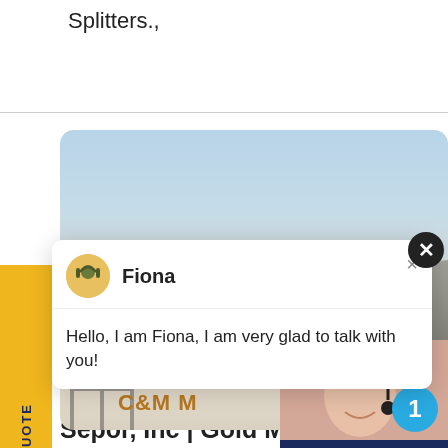Splitters.,
[Figure (screenshot): Website screenshot showing a mining/industrial site photo banner with sky and ground, overlaid by a live chat popup featuring 'Fiona', with a sidebar 'REQUEST A QUOTE' button, a headset customer service representative image, a navy blue panel saying 'Have any requests, click here.' with arrows and a Quotation button, and bottom text 'Sepor, Inc | Gold Mining'.]
Fiona
Hello, I am Fiona, I am very glad to talk with you!
Have any requests, click here.
Quotation
Sepor, Inc | Gold Mining